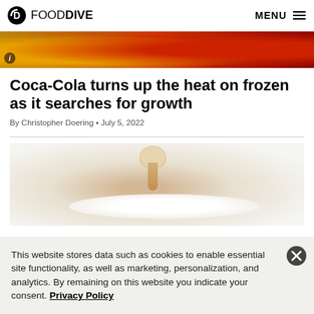FOOD DIVE | MENU
[Figure (photo): Partial top image showing red and yellow tones, likely Coca-Cola branded equipment]
Coca-Cola turns up the heat on frozen as it searches for growth
By Christopher Doering • July 5, 2022
[Figure (photo): Melting ice cream or frozen dessert on a white background, cream pouring/spilling]
This website stores data such as cookies to enable essential site functionality, as well as marketing, personalization, and analytics. By remaining on this website you indicate your consent. Privacy Policy